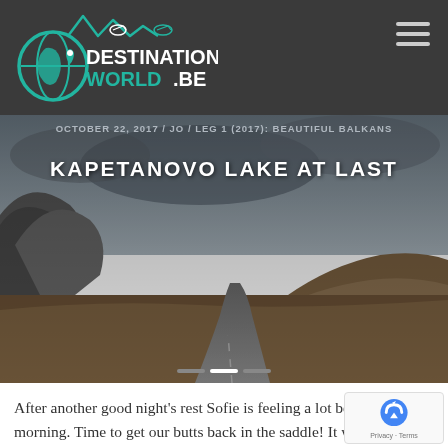DESTINATION WORLD.BE — website header with logo and hamburger menu
[Figure (photo): Photograph of a mountain road leading through dramatic rocky mountains and rolling brown hills under a cloudy sky, used as hero image background]
OCTOBER 22, 2017 / JO / LEG 1 (2017): BEAUTIFUL BALKANS
KAPETANOVO LAKE AT LAST
After another good night's rest Sofie is feeling a lot better in the morning. Time to get our butts back in the saddle! It would be rather boring to take the